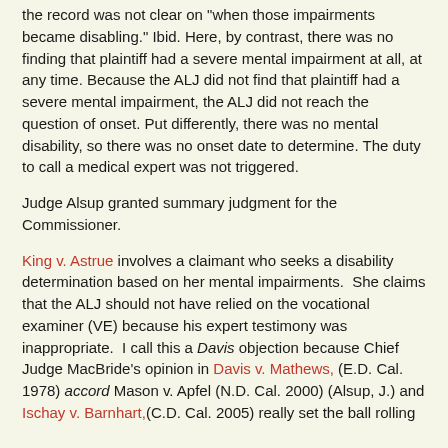the record was not clear on "when those impairments became disabling." Ibid. Here, by contrast, there was no finding that plaintiff had a severe mental impairment at all, at any time. Because the ALJ did not find that plaintiff had a severe mental impairment, the ALJ did not reach the question of onset. Put differently, there was no mental disability, so there was no onset date to determine. The duty to call a medical expert was not triggered.
Judge Alsup granted summary judgment for the Commissioner.
King v. Astrue involves a claimant who seeks a disability determination based on her mental impairments. She claims that the ALJ should not have relied on the vocational examiner (VE) because his expert testimony was inappropriate. I call this a Davis objection because Chief Judge MacBride's opinion in Davis v. Mathews, (E.D. Cal. 1978) accord Mason v. Apfel (N.D. Cal. 2000) (Alsup, J.) and Ischay v. Barnhart,(C.D. Cal. 2005) really set the ball rolling